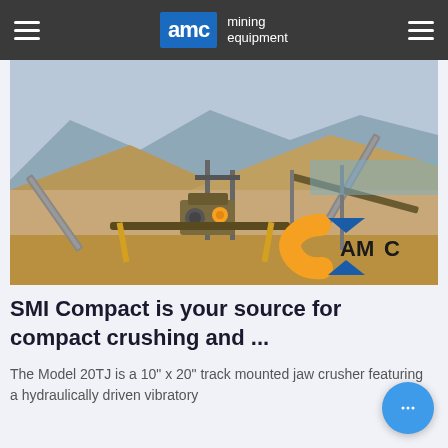AMC mining equipment
[Figure (photo): Outdoor mining/crushing plant facility with conveyor belts, crushers, and large piles of aggregate material. AMC logo visible in lower right corner of the photo.]
SMI Compact is your source for compact crushing and ...
The Model 20TJ is a 10" x 20" track mounted jaw crusher featuring a hydraulically driven vibratory